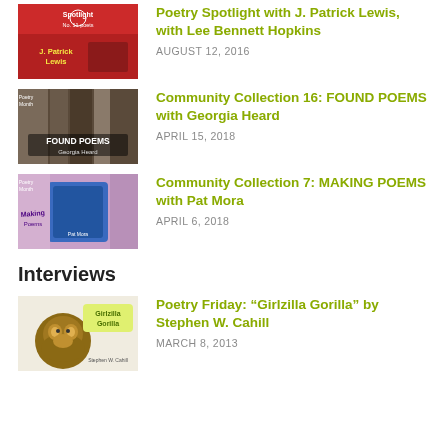[Figure (photo): Book cover thumbnail: Poetry Spotlight with J. Patrick Lewis]
Poetry Spotlight with J. Patrick Lewis, with Lee Bennett Hopkins
AUGUST 12, 2016
[Figure (photo): Thumbnail image: Found Poems by Georgia Heard, library bookshelf background]
Community Collection 16: FOUND POEMS with Georgia Heard
APRIL 15, 2018
[Figure (photo): Thumbnail image: Making Poems by Pat Mora, colorful door background]
Community Collection 7: MAKING POEMS with Pat Mora
APRIL 6, 2018
Interviews
[Figure (photo): Book cover thumbnail: Girlzilla Gorilla by Stephen W. Cahill, gorilla illustration]
Poetry Friday: “Girlzilla Gorilla” by Stephen W. Cahill
MARCH 8, 2013